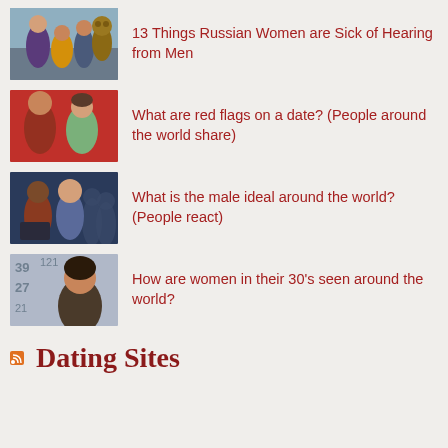[Figure (photo): Thumbnail image of group of young people outdoors, amusement park setting]
13 Things Russian Women are Sick of Hearing from Men
[Figure (photo): Thumbnail image of man and woman sitting together in front of red background, smiling]
What are red flags on a date? (People around the world share)
[Figure (photo): Thumbnail image of two women reacting, dark background with silhouettes]
What is the male ideal around the world? (People react)
[Figure (photo): Thumbnail image of woman with numbers/calendar in background]
How are women in their 30's seen around the world?
Dating Sites